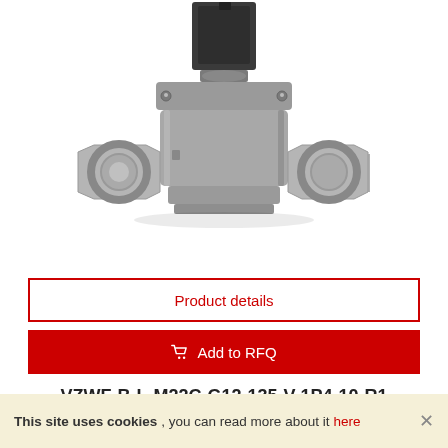[Figure (photo): Solenoid valve product photo — metallic stainless steel diaphragm valve with black solenoid actuator on top and threaded pipe fittings on both sides]
Product details
Add to RFQ
VZWF-B-L-M22C-G12-135-V-1P4-10-R1
Solenoid valve: Design structure : Diaphragm valveforced: Type of
This site uses cookies, you can read more about it here